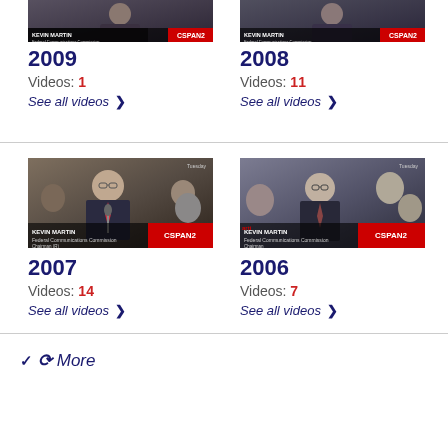[Figure (screenshot): Video thumbnail of Kevin Martin, Federal Communications Commission Chairman (R), CSPAN2, 2009]
2009
Videos: 1
See all videos ›
[Figure (screenshot): Video thumbnail of Kevin Martin, Federal Communications Commission Chairman (R), CSPAN2, 2008]
2008
Videos: 11
See all videos ›
[Figure (screenshot): Video thumbnail of Kevin Martin, Federal Communications Commission Chairman (R), CSPAN2, 2007]
2007
Videos: 14
See all videos ›
[Figure (screenshot): Video thumbnail of Kevin Martin, Federal Communications Commission Chairman, CSPAN2, 2006]
2006
Videos: 7
See all videos ›
▾ More